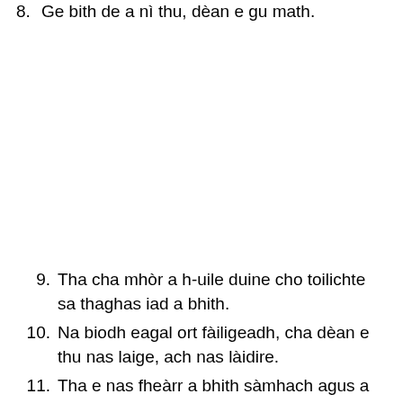8. Ge bith de a nì thu, dèan e gu math.
9. Tha cha mhòr a h-uile duine cho toilichte sa thaghas iad a bhith.
10. Na biodh eagal ort fàiligeadh, cha dèan e thu nas laige, ach nas làidire.
11. Tha e nas fheàrr a bhith sàmhach agus a bhith a 'coimhead gòrach na bhith a' fosgladh do bheul